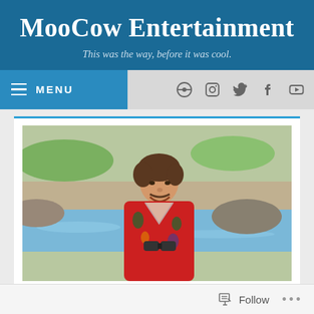MooCow Entertainment
This was the way, before it was cool.
☰ MENU
[Figure (photo): A man in a red Hawaiian shirt smiling outdoors near water with rocky shoreline and greenery in background, holding something dark (possibly binoculars)]
Follow